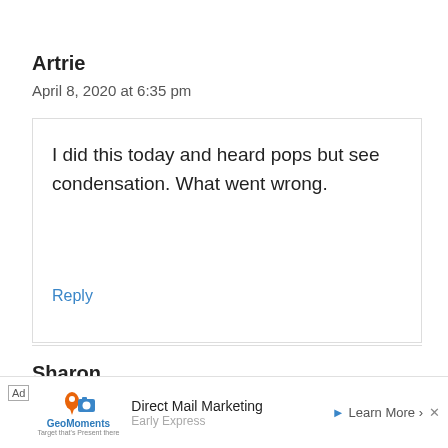Artrie
April 8, 2020 at 6:35 pm
I did this today and heard pops but see condensation. What went wrong.
Reply
Sharon
Ap...
[Figure (other): Ad banner: GeoMoments - Direct Mail Marketing, Early Express, Learn More]